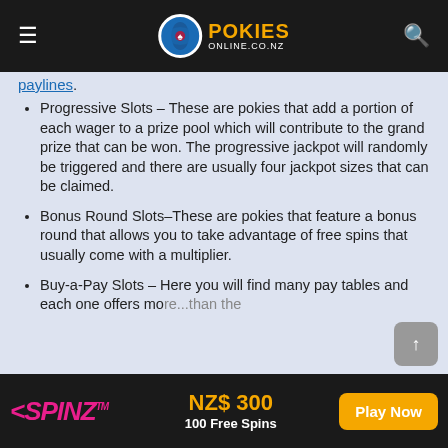POKIES ONLINE.CO.NZ
paylines.
Progressive Slots – These are pokies that add a portion of each wager to a prize pool which will contribute to the grand prize that can be won. The progressive jackpot will randomly be triggered and there are usually four jackpot sizes that can be claimed.
Bonus Round Slots–These are pokies that feature a bonus round that allows you to take advantage of free spins that usually come with a multiplier.
Buy-a-Pay Slots – Here you will find many pay tables and each one offers more...than the
SPINZ™ NZ$ 300 100 Free Spins Play Now